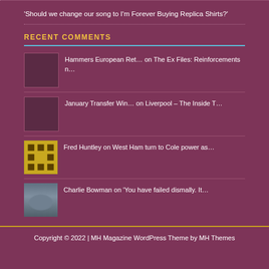'Should we change our song to I'm Forever Buying Replica Shirts?'
RECENT COMMENTS
Hammers European Ret… on The Ex Files: Reinforcements n…
January Transfer Win… on Liverpool – The Inside T…
Fred Huntley on West Ham turn to Cole power as…
Charlie Bowman on 'You have failed dismally. It…
Copyright © 2022 | MH Magazine WordPress Theme by MH Themes